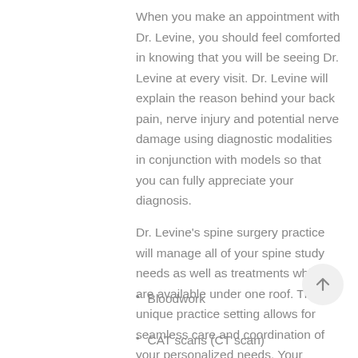When you make an appointment with Dr. Levine, you should feel comforted in knowing that you will be seeing Dr. Levine at every visit. Dr. Levine will explain the reason behind your back pain, nerve injury and potential nerve damage using diagnostic modalities in conjunction with models so that you can fully appreciate your diagnosis.
Dr. Levine's spine surgery practice will manage all of your spine study needs as well as treatments which are available under one roof. This unique practice setting allows for seamless care and coordination of your personalized needs. Your workup may include the use of the following tests near Netcong, NJ:
Bloodwork
CAT scans (CT scan)